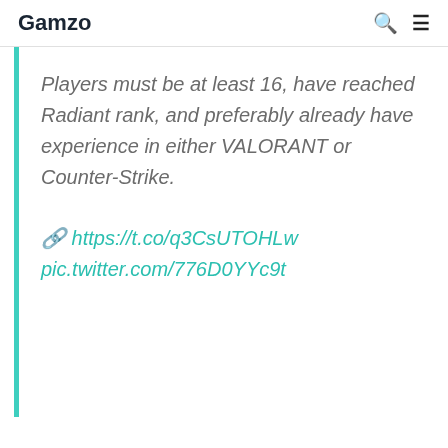Gamzo
Players must be at least 16, have reached Radiant rank, and preferably already have experience in either VALORANT or Counter-Strike.
🔗 https://t.co/q3CsUTOHLw pic.twitter.com/776D0YYc9t